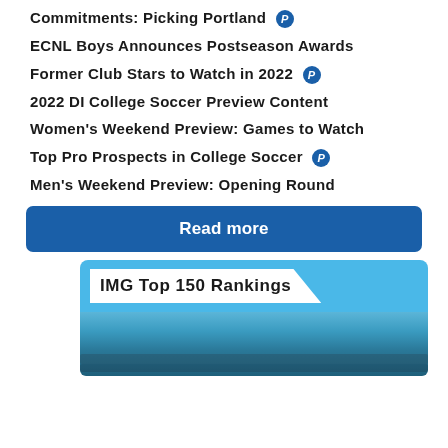Commitments: Picking Portland
ECNL Boys Announces Postseason Awards
Former Club Stars to Watch in 2022
2022 DI College Soccer Preview Content
Women's Weekend Preview: Games to Watch
Top Pro Prospects in College Soccer
Men's Weekend Preview: Opening Round
Read more
[Figure (other): IMG Top 150 Rankings card with blue header and landscape photo]